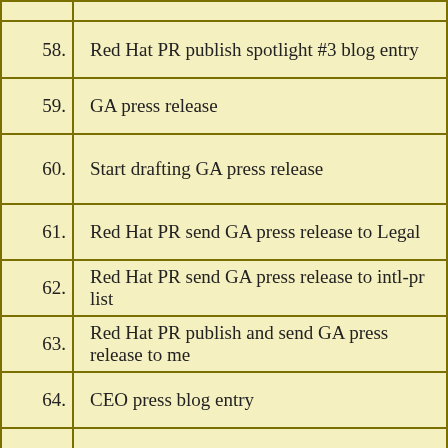| # | Task |
| --- | --- |
| 58. | Red Hat PR publish spotlight #3 blog entry |
| 59. | GA press release |
| 60. | Start drafting GA press release |
| 61. | Red Hat PR send GA press release to Legal |
| 62. | Red Hat PR send GA press release to intl-pr list |
| 63. | Red Hat PR publish and send GA press release to me… |
| 64. | CEO press blog entry |